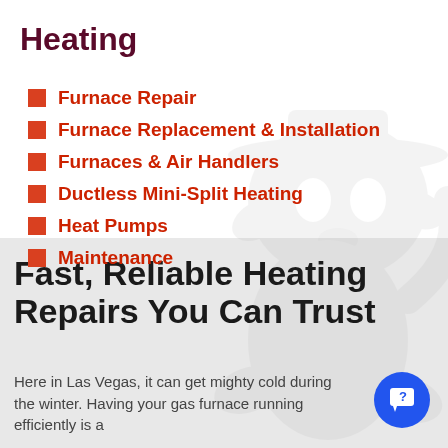Heating
Furnace Repair
Furnace Replacement & Installation
Furnaces & Air Handlers
Ductless Mini-Split Heating
Heat Pumps
Maintenance
Fast, Reliable Heating Repairs You Can Trust
Here in Las Vegas, it can get mighty cold during the winter. Having your gas furnace running efficiently is a